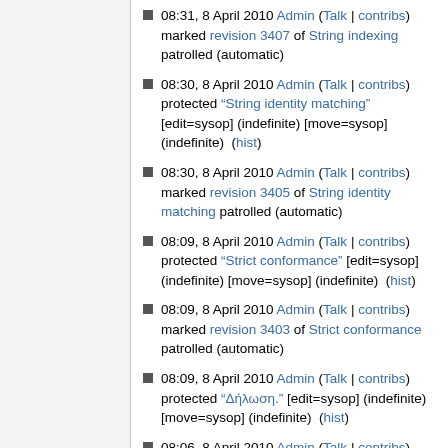08:31, 8 April 2010 Admin (Talk | contribs) marked revision 3407 of String indexing patrolled (automatic)
08:30, 8 April 2010 Admin (Talk | contribs) protected "String identity matching" [edit=sysop] (indefinite) [move=sysop] (indefinite)  (hist)
08:30, 8 April 2010 Admin (Talk | contribs) marked revision 3405 of String identity matching patrolled (automatic)
08:09, 8 April 2010 Admin (Talk | contribs) protected "Strict conformance" [edit=sysop] (indefinite) [move=sysop] (indefinite)  (hist)
08:09, 8 April 2010 Admin (Talk | contribs) marked revision 3403 of Strict conformance patrolled (automatic)
08:09, 8 April 2010 Admin (Talk | contribs) protected "Δήλωση." [edit=sysop] (indefinite) [move=sysop] (indefinite)  (hist)
08:06, 8 April 2010 Admin (Talk | contribs) marked revision 3401 of Δήλωση. patrolled (automatic)
08:06, 8 April 2010 Admin (Talk | contribs)